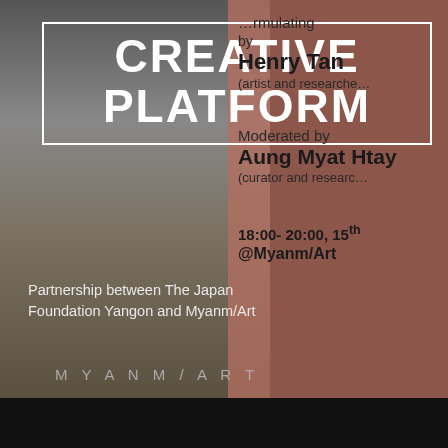[Figure (photo): Gallery interior showing two people standing near artwork on walls, art exhibition space]
CREATIVE PLATFORM
…rmulating
by
Henry Tan
(artist and researcher)
Moderated by
Aung Myat Htay
(curator and researcher)
18:00- 20:00, 15th
@Myanm/Art
Partnership between The Japan Foundation Yangon and Myanm/Art
MYANM/ART